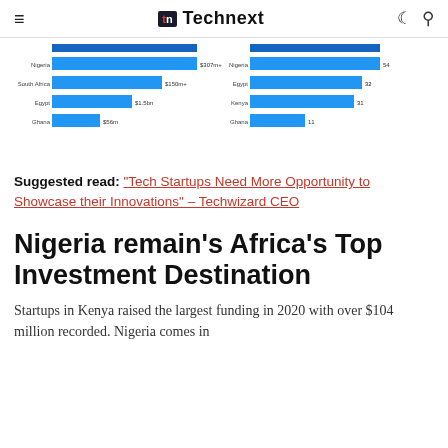Technext
[Figure (bar-chart): Two side-by-side horizontal bar charts showing African country funding data. Left chart bars: Nigeria (top, largest), South Africa, Egypt, Ghana. Right chart bars: Nigeria (top), Egypt, Kenya, Ghana.]
Suggested read: "Tech Startups Need More Opportunity to Showcase their Innovations" – Techwizard CEO
Nigeria remain's Africa's Top Investment Destination
Startups in Kenya raised the largest funding in 2020 with over $104 million recorded. Nigeria comes in